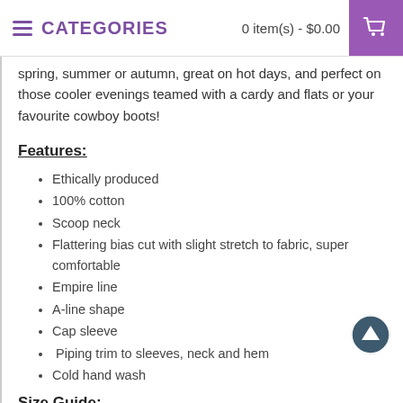CATEGORIES   0 item(s) - $0.00
spring, summer or autumn, great on hot days, and perfect on those cooler evenings teamed with a cardy and flats or your favourite cowboy boots!
Features:
Ethically produced
100% cotton
Scoop neck
Flattering bias cut with slight stretch to fabric, super comfortable
Empire line
A-line shape
Cap sleeve
Piping trim to sleeves, neck and hem
Cold hand wash
Size Guide: